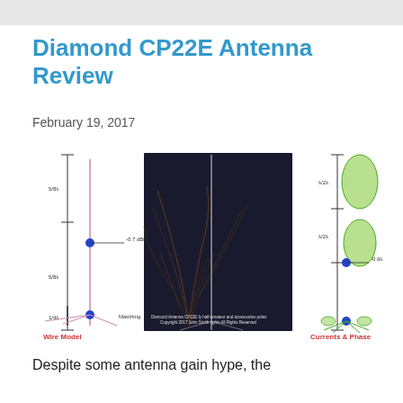Diamond CP22E Antenna Review
February 19, 2017
[Figure (engineering-diagram): Three-panel antenna diagram: left panel shows a wire model of the CP22E antenna with vertical elements labeled 5/8λ (top and bottom) and a matching section, with a blue dot marker at -0.7 dBi; center panel shows a photograph of the Diamond CP22E antenna against a dark background of trees; right panel shows the currents & phase diagram with green radiation lobes at top and bottom (each labeled λ/2 and λ/4), a blue dot at the feed point labeled -0.9 dBi, and green radials at the base. Labels 'Wire Model' in red at bottom-left and 'Currents & Phase' in red at bottom-right.]
Despite some antenna gain hype, the